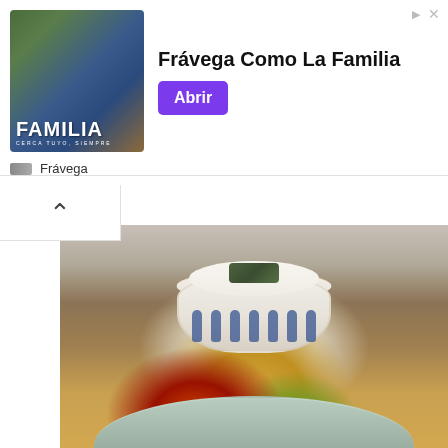[Figure (photo): Advertisement banner for Frávega featuring a group of rugby players on a field with text 'FAMILIA' and subtitle 'CERCA TUYO, SIEMPRE']
Frávega Como La Familia
Abrir
Frávega
[Figure (photo): Food photograph showing a blue and white striped bowl of white rice topped with seaweed/nori, placed behind a large light green plate with multiple small dishes containing red braised meat, bamboo shoots/pickled vegetables, and green vegetables, all arranged on a wooden table with a brown chair in the background]